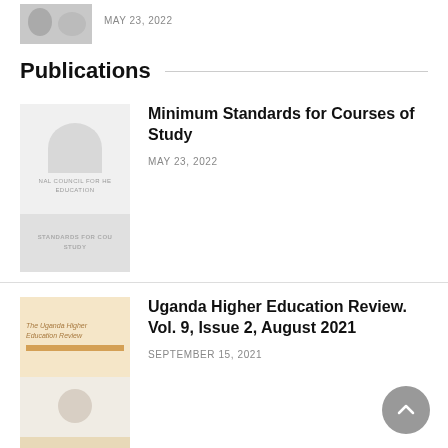[Figure (photo): Thumbnail image of a publication, partially cropped at top]
MAY 23, 2022
Publications
[Figure (photo): Cover of Minimum Standards for Courses of Study publication with council emblem and text]
Minimum Standards for Courses of Study
MAY 23, 2022
[Figure (photo): Cover of Uganda Higher Education Review Vol. 9, Issue 2, August 2021]
Uganda Higher Education Review. Vol. 9, Issue 2, August 2021
SEPTEMBER 15, 2021